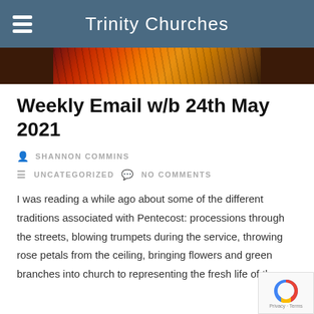Trinity Churches
[Figure (photo): Colorful abstract artwork with warm red, orange, and yellow tones resembling stained glass or flame patterns]
Weekly Email w/b 24th May 2021
SHANNON COMMINS
UNCATEGORIZED   NO COMMENTS
I was reading a while ago about some of the different traditions associated with Pentecost: processions through the streets, blowing trumpets during the service, throwing rose petals from the ceiling, bringing flowers and green branches into church to representing the fresh life of the